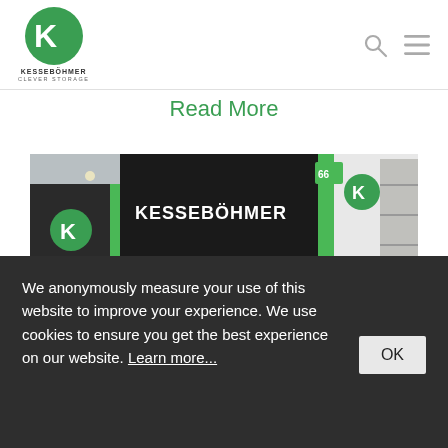Kessebohmer – Clever Storage logo with navigation icons
Read More
[Figure (photo): Kessebohmer trade show booth with visitors at an exhibition hall. The booth has dark panels with green accents and the Kessebohmer logo prominently displayed.]
We anonymously measure your use of this website to improve your experience. We use cookies to ensure you get the best experience on our website. Learn more...